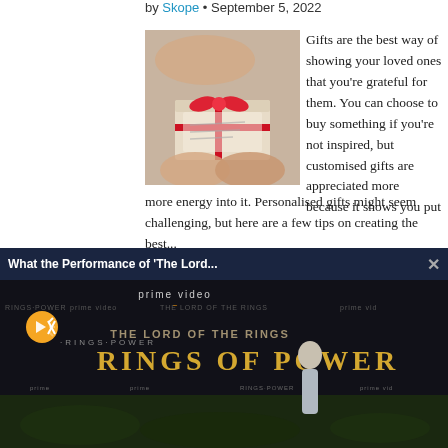by Skope • September 5, 2022
[Figure (photo): Person holding a gift box with red ribbon]
Gifts are the best way of showing your loved ones that you're grateful for them. You can choose to buy something if you're not inspired, but customised gifts are appreciated more because it shows you put more energy into it. Personalised gifts might seem challenging, but here are a few tips on creating the best...
Read more →
[Figure (screenshot): Video popup overlay: 'What the Performance of The Lord...' with Prime Video Rings of Power advertisement showing actress at premiere]
[Figure (photo): Nota by M&T Bank advertisement: Book Today]